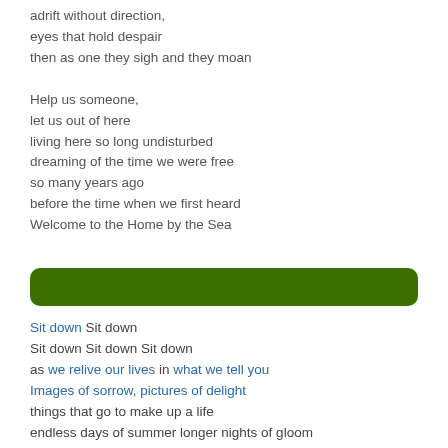adrift without direction,
eyes that hold despair
then as one they sigh and they moan

Help us someone,
let us out of here
living here so long undisturbed
dreaming of the time we were free
so many years ago
before the time when we first heard
Welcome to the Home by the Sea
[Figure (other): A dark green rounded rectangle banner/divider bar]
Sit down Sit down
Sit down Sit down Sit down
as we relive our lives in what we tell you
Images of sorrow, pictures of delight
things that go to make up a life
endless days of summer longer nights of gloom